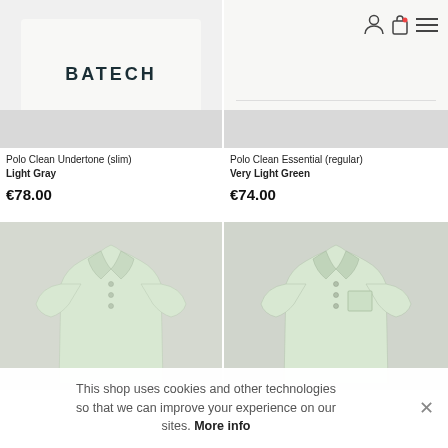[Figure (photo): Product image of Polo Clean Undertone (slim) in Light Gray on white/light gray background with BATECH logo]
[Figure (photo): Product image of Polo Clean Essential (regular) in Very Light Green on white background with navigation icons (user, bag, menu)]
Polo Clean Undertone (slim)
Light Gray
€78.00
Polo Clean Essential (regular)
Very Light Green
€74.00
[Figure (photo): Polo shirt in Very Light Green, slim style, front view on light gray background]
[Figure (photo): Polo shirt in Very Light Green with chest pocket, regular style, front view on light gray background]
This shop uses cookies and other technologies so that we can improve your experience on our sites. More info